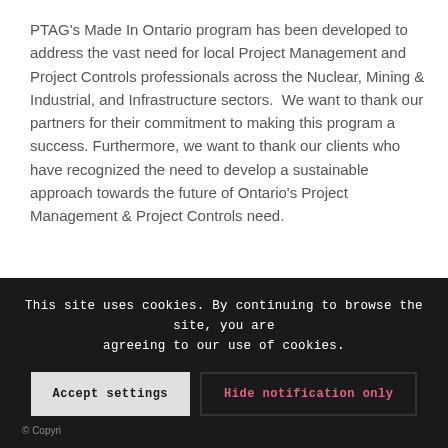PTAG's Made In Ontario program has been developed to address the vast need for local Project Management and Project Controls professionals across the Nuclear, Mining & Industrial, and Infrastructure sectors.  We want to thank our partners for their commitment to making this program a success. Furthermore, we want to thank our clients who have recognized the need to develop a sustainable approach towards the future of Ontario's Project Management & Project Controls need.
[Figure (other): Dark navy button with envelope icon and text: Contact us to get involved.]
This site uses cookies. By continuing to browse the site, you are agreeing to our use of cookies.
Accept settings
Hide notification only
© Copyri...